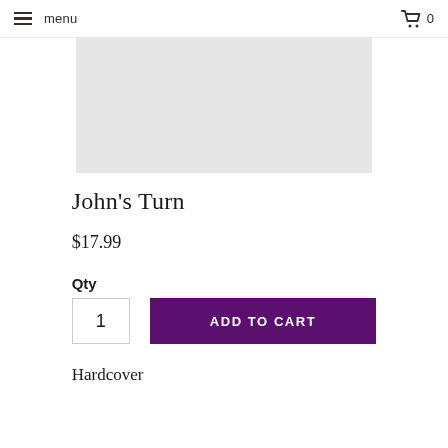menu  0
[Figure (photo): Book cover image placeholder — light gray rectangle representing the book cover of John's Turn]
John's Turn
$17.99
Qty
1
ADD TO CART
Hardcover